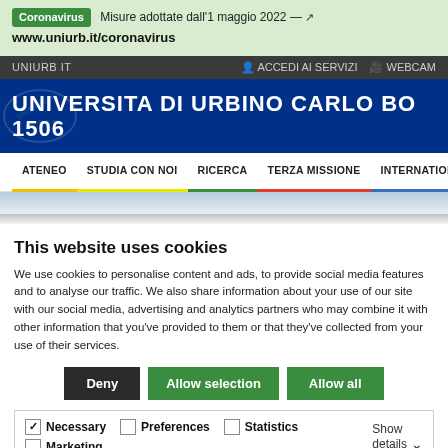Coronavirus Misure adottate dall'1 maggio 2022 — www.uniurb.it/coronavirus
UNIURB IT | ACCEDI AI SERVIZI | WEBCAM
UNIVERSITA DI URBINO CARLO BO  1506
ATENEO  STUDIA CON NOI  RICERCA  TERZA MISSIONE  INTERNATIONAL
This website uses cookies
We use cookies to personalise content and ads, to provide social media features and to analyse our traffic. We also share information about your use of our site with our social media, advertising and analytics partners who may combine it with other information that you've provided to them or that they've collected from your use of their services.
Deny | Allow selection | Allow all
Necessary  Preferences  Statistics  Marketing  Show details